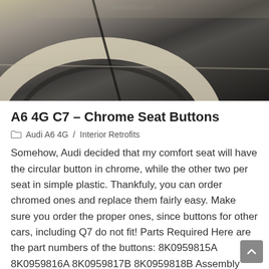[Figure (photo): Close-up photo of a chrome/plastic seat button or trim detail on an Audi A6, showing curved silver and dark grey surfaces.]
A6 4G C7 – Chrome Seat Buttons
Audi A6 4G  /  Interior Retrofits
Somehow, Audi decided that my comfort seat will have the circular button in chrome, while the other two per seat in simple plastic. Thankfuly, you can order chromed ones and replace them fairly easy. Make sure you order the proper ones, since buttons for other cars, including Q7 do not fit! Parts Required Here are the part numbers of the buttons: 8K0959815A 8K0959816A 8K0959817B 8K0959818B Assembly Carefully plug the old ones out and place in the new ones. Simple as that.[image-comparator left="https://www.a6retrofits.com/wp-content/uploads/2018/08/before.jpg" right="https://www.a6retrofits.com/wp-